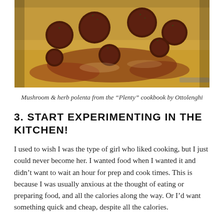[Figure (photo): Close-up photograph of mushroom and herb polenta dish in a baking pan, showing round mushrooms on golden polenta with sauce and herbs.]
Mushroom & herb polenta from the “Plenty” cookbook by Ottolenghi
3. START EXPERIMENTING IN THE KITCHEN!
I used to wish I was the type of girl who liked cooking, but I just could never become her. I wanted food when I wanted it and didn’t want to wait an hour for prep and cook times. This is because I was usually anxious at the thought of eating or preparing food, and all the calories along the way. Or I’d want something quick and cheap, despite all the calories.